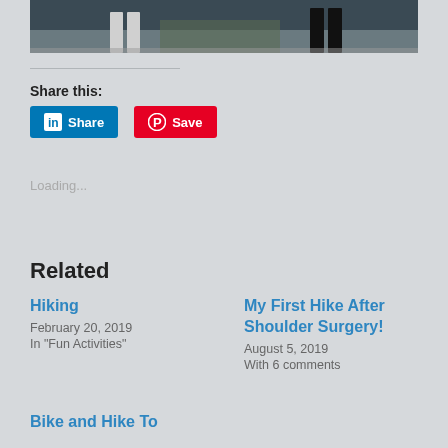[Figure (photo): Cropped photo showing people's legs standing on a railing or bridge, partial view from waist down]
Share this:
[Figure (screenshot): LinkedIn Share button (blue) and Pinterest Save button (red)]
Loading...
Related
Hiking
February 20, 2019
In "Fun Activities"
My First Hike After Shoulder Surgery!
August 5, 2019
With 6 comments
Bike and Hike To